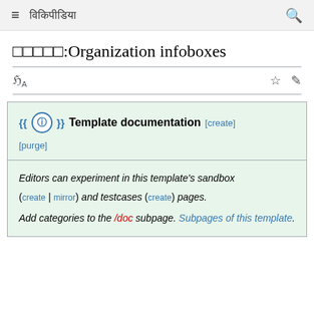≡ विकिपीडिया 🔍
□□□□□:Organization infoboxes
Template documentation[create] [purge]
Editors can experiment in this template's sandbox (create | mirror) and testcases (create) pages. Add categories to the /doc subpage. Subpages of this template.